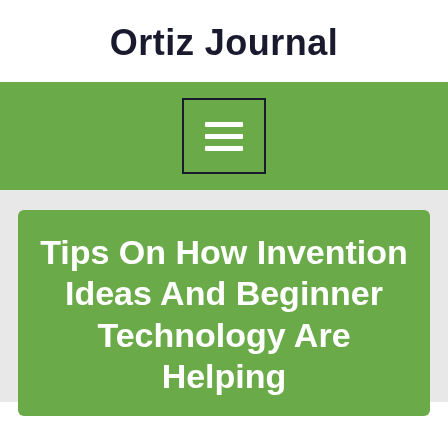Ortiz Journal
[Figure (other): Navigation bar with hamburger menu icon (three horizontal white lines) inside a dark-bordered square box, on a green background]
Tips On How Invention Ideas And Beginner Technology Are Helping